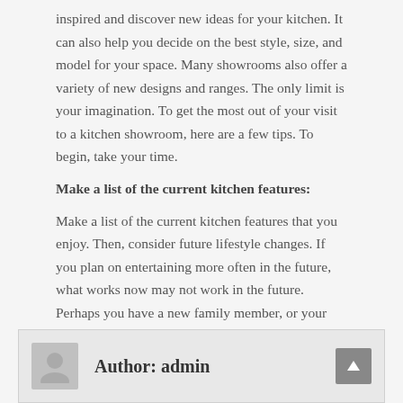inspired and discover new ideas for your kitchen. It can also help you decide on the best style, size, and model for your space. Many showrooms also offer a variety of new designs and ranges. The only limit is your imagination. To get the most out of your visit to a kitchen showroom, here are a few tips. To begin, take your time.
Make a list of the current kitchen features:
Make a list of the current kitchen features that you enjoy. Then, consider future lifestyle changes. If you plan on entertaining more often in the future, what works now may not work in the future. Perhaps you have a new family member, or your entertaining habits have changed. You may even view the kitchen as the heart of the house, and this means that your style will need to change as well. When you visit a kitchen showroom, you can get ideas for the layout, design elements, and style of your new kitchen.
Author: admin